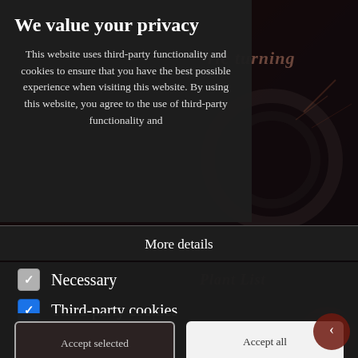[Figure (screenshot): Dark website background with industrial/manufacturing imagery (welding/metalwork scene) partially visible behind the privacy consent popup. Faint text 'ric turning' and 'Plant List' visible in the background.]
We value your privacy
This website uses third-party functionality and cookies to ensure that you have the best possible experience when visiting this website. By using this website, you agree to the use of third-party functionality and
More details
Necessary
Third-party cookies
Accept selected
Accept all